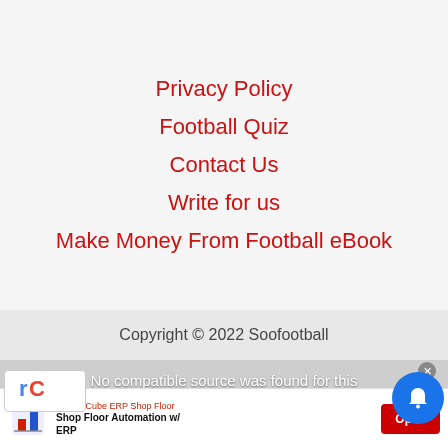Privacy Policy
Football Quiz
Contact Us
Write for us
Make Money From Football eBook
Copyright © 2022 Soofootball
No compatible source was found for this media.
OmegaCube ERP Shop Floor
Shop Floor Automation w/ ERP  Open